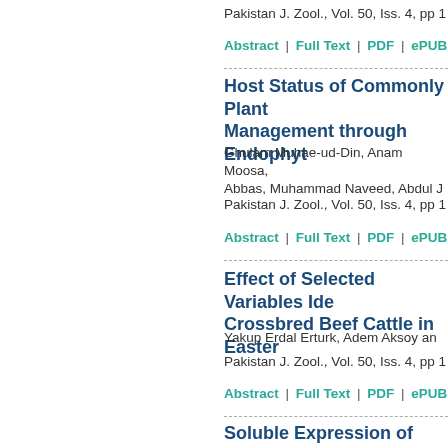Pakistan J. Zool., Vol. 50, Iss. 4, pp 1
Abstract | Full Text | PDF | ePUB | FLIP
Host Status of Commonly Plant… Management through Endophyt…
Ghulam Muhae-ud-Din, Anam Moosa, Abbas, Muhammad Naveed, Abdul J
Pakistan J. Zool., Vol. 50, Iss. 4, pp 1
Abstract | Full Text | PDF | ePUB | FLIP
Effect of Selected Variables Ide… Crossbred Beef Cattle in Easter…
Yakup Erdal Erturk, Adem Aksoy an…
Pakistan J. Zool., Vol. 50, Iss. 4, pp 1
Abstract | Full Text | PDF | ePUB | FLIP
Soluble Expression of IFNα2-To… SUMO Fusion and its Anti-Prolif…